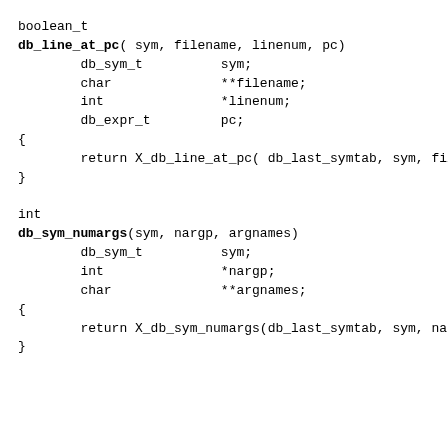boolean_t
db_line_at_pc( sym, filename, linenum, pc)
        db_sym_t          sym;
        char              **filename;
        int               *linenum;
        db_expr_t         pc;
{
        return X_db_line_at_pc( db_last_symtab, sym, file
}

int
db_sym_numargs(sym, nargp, argnames)
        db_sym_t          sym;
        int               *nargp;
        char              **argnames;
{
        return X_db_sym_numargs(db_last_symtab, sym, narg
}